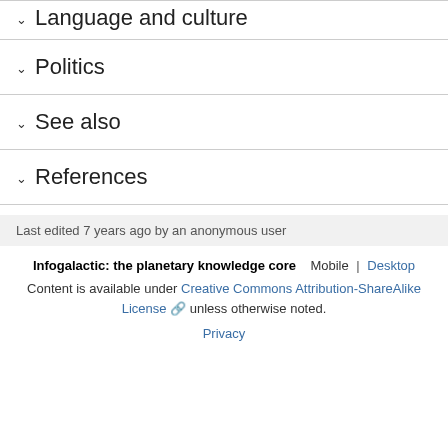Language and culture
Politics
See also
References
Last edited 7 years ago by an anonymous user
Infogalactic: the planetary knowledge core   Mobile | Desktop
Content is available under Creative Commons Attribution-ShareAlike License unless otherwise noted.
Privacy